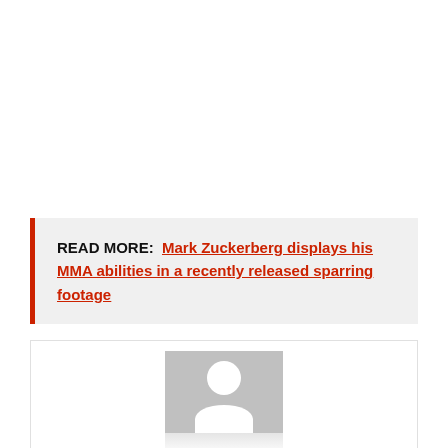READ MORE: Mark Zuckerberg displays his MMA abilities in a recently released sparring footage
[Figure (photo): Placeholder person silhouette image in a gray box with reflection below, inside a white bordered container]